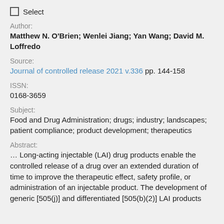Select
Author:
Matthew N. O'Brien; Wenlei Jiang; Yan Wang; David M. Loffredo
Source:
Journal of controlled release 2021 v.336 pp. 144-158
ISSN:
0168-3659
Subject:
Food and Drug Administration; drugs; industry; landscapes; patient compliance; product development; therapeutics
Abstract:
… Long-acting injectable (LAI) drug products enable the controlled release of a drug over an extended duration of time to improve the therapeutic effect, safety profile, or administration of an injectable product. The development of generic [505(j)] and differentiated [505(b)(2)] LAI products